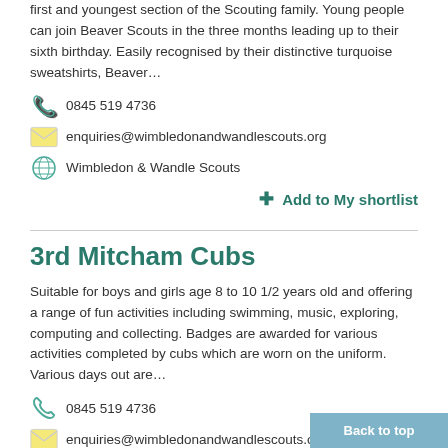first and youngest section of the Scouting family. Young people can join Beaver Scouts in the three months leading up to their sixth birthday. Easily recognised by their distinctive turquoise sweatshirts, Beaver…
0845 519 4736
enquiries@wimbledonandwandlescouts.org
Wimbledon & Wandle Scouts
+ Add to My shortlist
3rd Mitcham Cubs
Suitable for boys and girls age 8 to 10 1/2 years old and offering a range of fun activities including swimming, music, exploring, computing and collecting. Badges are awarded for various activities completed by cubs which are worn on the uniform. Various days out are…
0845 519 4736
enquiries@wimbledonandwandlescouts.org
Wimbledon & Wandle Scouts
+ Add to My shortlist
Back to top